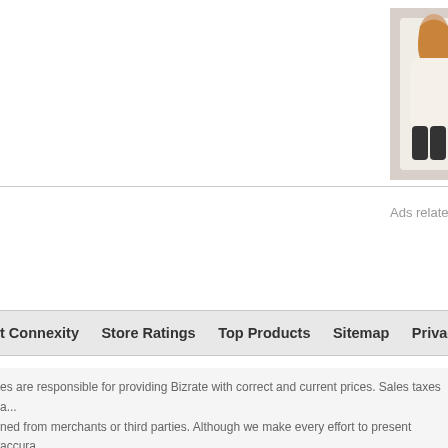Free People Dresses | Free P...
[Figure (photo): Two women in white/cream dresses from Free People, one with boots]
Size 0, The Size Tag Has Been A Bit R... Excellent Condition With Minimal Wea... Free People Mini Dress Has A Floun... Sleeves, Optional ... more
Product Info ▼
Ads related to free people dresses free people creme la...
t Connexity   Store Ratings   Top Products   Sitemap   Privacy Policy   User Agreement ...
es are responsible for providing Bizrate with correct and current prices. Sales taxes a... ned from merchants or third parties. Although we make every effort to present accura... epancies by clicking here.
e ratings and product reviews are submitted by online shoppers; they do not reflect ou...
22 Connexity, Inc. / Bizrate is a division of Connexity, Inc.